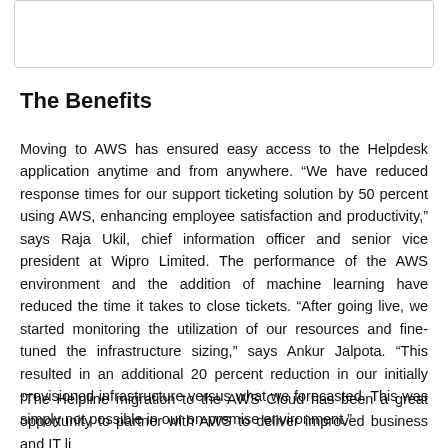[Figure (other): White box/card element at the top of the page]
The Benefits
Moving to AWS has ensured easy access to the Helpdesk application anytime and from anywhere. “We have reduced response times for our support ticketing solution by 50 percent using AWS, enhancing employee satisfaction and productivity,” says Raja Ukil, chief information officer and senior vice president at Wipro Limited. The performance of the AWS environment and the addition of machine learning have reduced the time it takes to close tickets. “After going live, we started monitoring the utilization of our resources and fine-tuned the infrastructure sizing,” says Ankur Jalpota. “This resulted in an additional 20 percent reduction in our initially provisioned infrastructure versus what we forecasted. This was simply not possible in our on-premise environment.”
“The Helpline migration to the AWS Cloud has been a great opportunity to partner with AWS to deliver improved business and IT li...